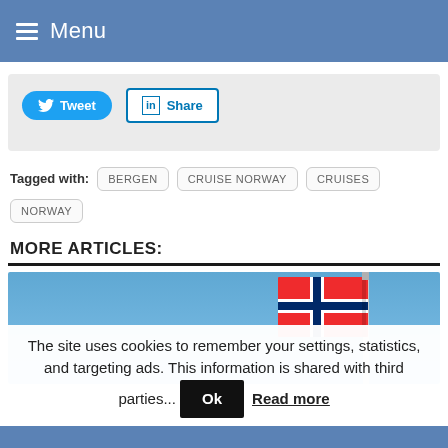Menu
[Figure (screenshot): Social share buttons: Tweet (Twitter) and Share (LinkedIn)]
Tagged with: BERGEN  CRUISE NORWAY  CRUISES  NORWAY
MORE ARTICLES:
[Figure (photo): Photo of a Norwegian flag against a clear blue sky]
The site uses cookies to remember your settings, statistics, and targeting ads. This information is shared with third parties... Ok  Read more